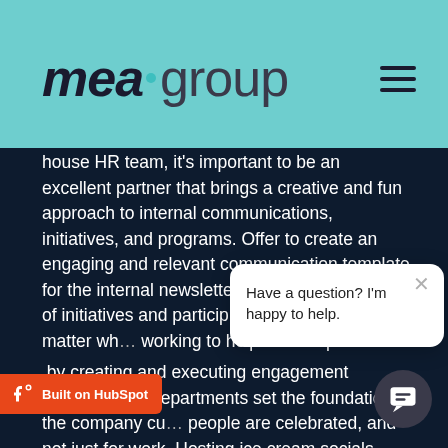[Figure (logo): mea·group logo in dark and teal colors on teal background]
house HR team, it's important to be an excellent partner that brings a creative and fun approach to internal communications, initiatives, and programs. Offer to create an engaging and relevant communication template for the internal newsletter… Be positive toward of initiatives and particip… Remember no matter wh… working to help the comp…
Have a question? I'm happy to help.
by creating and executing engagement programs HR departments set the foundation of the company cu… people are celebrated, and not just for work. Hosting ice cream socials, coffee break discussions